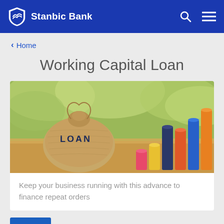Stanbic Bank
< Home
Working Capital Loan
[Figure (photo): A burlap money bag labeled LOAN surrounded by colorful rising bar-chart-style cylinders on a wooden surface with blurred greenery background]
Keep your business running with this advance to finance repeat orders